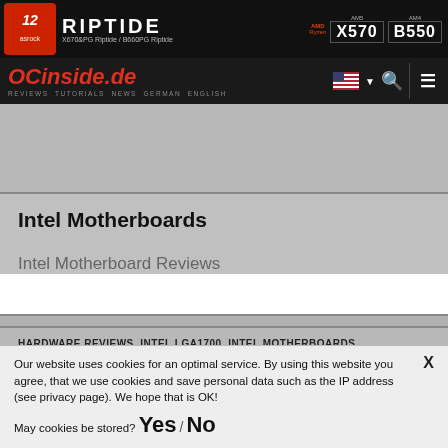[Figure (screenshot): ASRock Riptide motherboard banner advertisement showing X570 and B550 chipsets on black background]
OCinside.de — REVIEWS TUTORIALS NEWS GERMAN ENGLISH
Intel Motherboards
Intel Motherboard Reviews
HARDWARE REVIEWS, INTEL LGA1700, INTEL MOTHERBOARDS,
Our website uses cookies for an optimal service. By using this website you agree, that we use cookies and save personal data such as the IP address (see privacy page). We hope that is OK!
May cookies be stored? Yes / No